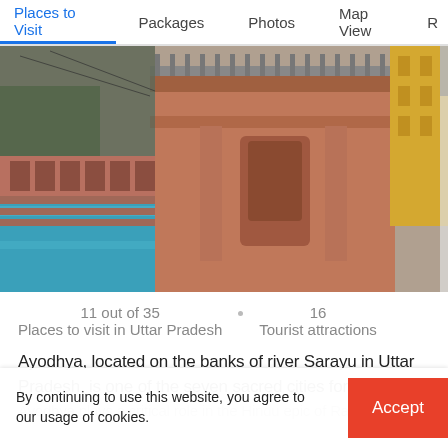Places to Visit | Packages | Photos | Map View | R...
[Figure (photo): Photo of Ayodhya ghats on the banks of river Sarayu — pink/red sandstone architecture with stepwells, a large ornate building with railings on top, reflections in blue water, and partial view of yellow buildings on the right.]
11 out of 35
Places to visit in Uttar Pradesh
16
Tourist attractions
Ayodhya, located on the banks of river Sarayu in Uttar Pradesh, is one of the seven sacred cities for Hindus. Ayodhya plays a critical role in the Hindu epic of Ramayana.
By continuing to use this website, you agree to our usage of cookies.